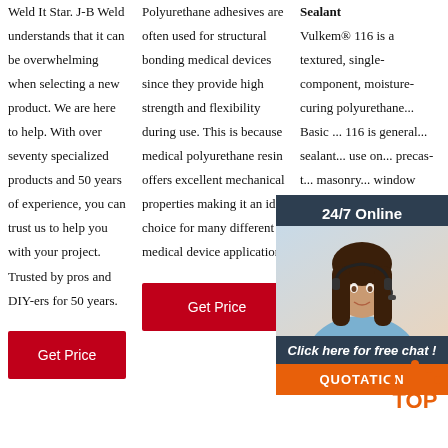Weld It Star. J-B Weld understands that it can be overwhelming when selecting a new product. We are here to help. With over seventy specialized products and 50 years of experience, you can trust us to help you with your project. Trusted by pros and DIY-ers for 50 years.
Polyurethane adhesives are often used for structural bonding medical devices since they provide high strength and flexibility during use. This is because medical polyurethane resin offers excellent mechanical properties making it an ideal choice for many different medical device applications.
Sealant Vulkem® 116 is a textured, single-component, moisture-curing polyurethane... Basic... 116 is general... sealant... use on... precast... masonry... window perimeters, and similar types of construction joints.
[Figure (other): 24/7 Online chat widget with a photo of a woman with headset, dark background, orange QUOTATION button]
[Figure (logo): TOP logo with orange dots arranged in an arc above the word TOP]
Get Price
Get Price
Get Price